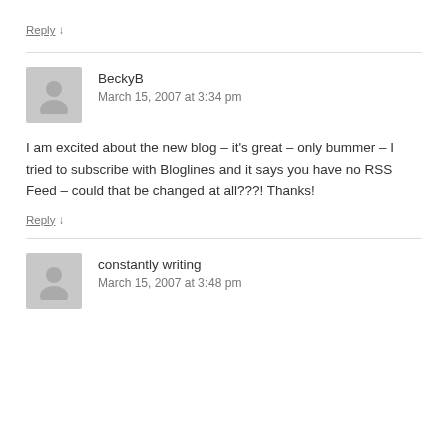Reply ↓
BeckyB
March 15, 2007 at 3:34 pm
I am excited about the new blog – it's great – only bummer – I tried to subscribe with Bloglines and it says you have no RSS Feed – could that be changed at all???! Thanks!
Reply ↓
constantly writing
March 15, 2007 at 3:48 pm